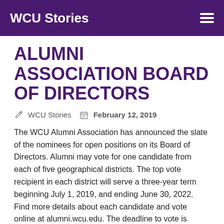WCU Stories
ALUMNI ASSOCIATION BOARD OF DIRECTORS
WCU Stories   February 12, 2019
The WCU Alumni Association has announced the slate of the nominees for open positions on its Board of Directors. Alumni may vote for one candidate from each of five geographical districts. The top vote recipient in each district will serve a three-year term beginning July 1, 2019, and ending June 30, 2022.  Find more details about each candidate and vote online at alumni.wcu.edu. The deadline to vote is March 31, 2019.